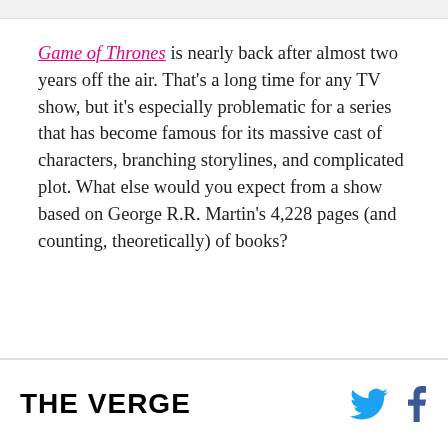Game of Thrones is nearly back after almost two years off the air. That's a long time for any TV show, but it's especially problematic for a series that has become famous for its massive cast of characters, branching storylines, and complicated plot. What else would you expect from a show based on George R.R. Martin's 4,228 pages (and counting, theoretically) of books?
THE VERGE